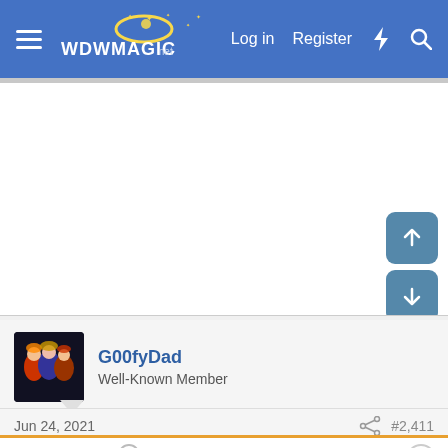WDWMAGIC — Log in  Register
[Figure (screenshot): White advertisement/content area with scroll up and scroll down navigation buttons on the right side]
G00fyDad
Well-Known Member
Jun 24, 2021  #2,411
Hockey427 said:
I'm also thinking based on the ARP window shrink...